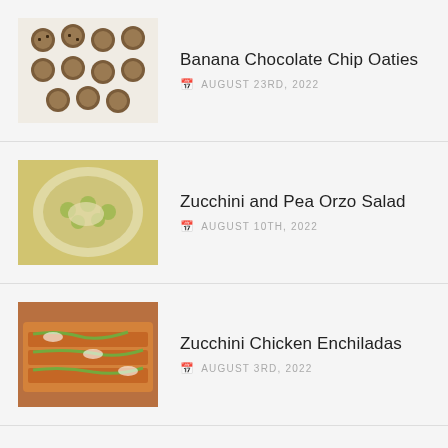Banana Chocolate Chip Oaties — AUGUST 23RD, 2022
Zucchini and Pea Orzo Salad — AUGUST 10TH, 2022
Zucchini Chicken Enchiladas — AUGUST 3RD, 2022
SOCIAL
[Figure (other): Social media icons: Twitter (bird), Instagram (camera), Pinterest (P)]